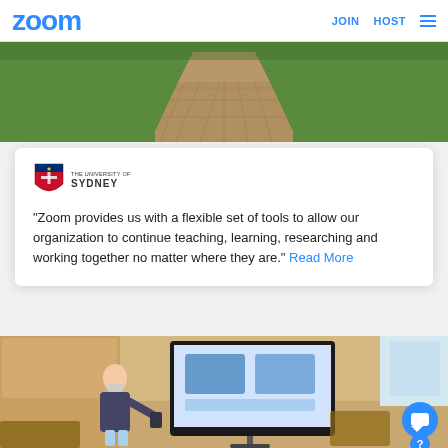zoom  JOIN  HOST
[Figure (photo): Aerial view of a stone pathway through a green lawn, likely a university campus walkway]
[Figure (logo): The University of Sydney logo with shield and text]
"Zoom provides us with a flexible set of tools to allow our organization to continue teaching, learning, researching and working together no matter where they are." Read More
[Figure (photo): A teacher wearing a mask stands in a classroom pointing toward a large display screen showing a Zoom session, while students are present]